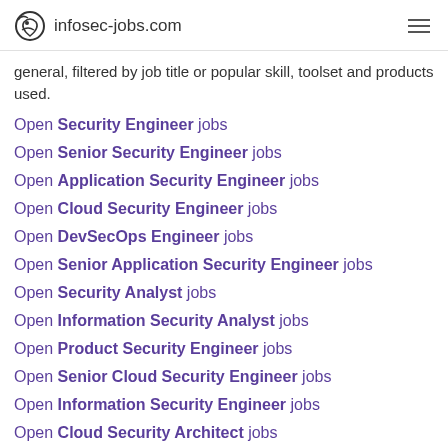infosec-jobs.com
general, filtered by job title or popular skill, toolset and products used.
Open Security Engineer jobs
Open Senior Security Engineer jobs
Open Application Security Engineer jobs
Open Cloud Security Engineer jobs
Open DevSecOps Engineer jobs
Open Senior Application Security Engineer jobs
Open Security Analyst jobs
Open Information Security Analyst jobs
Open Product Security Engineer jobs
Open Senior Cloud Security Engineer jobs
Open Information Security Engineer jobs
Open Cloud Security Architect jobs